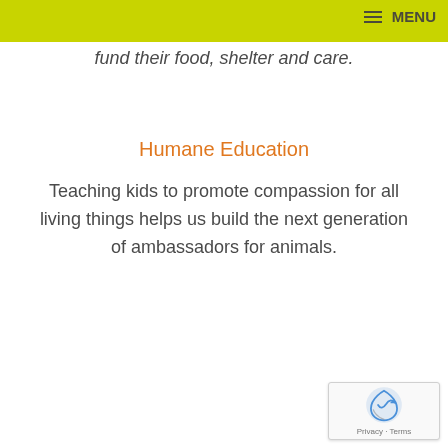MENU
fund their food, shelter and care.
Humane Education
Teaching kids to promote compassion for all living things helps us build the next generation of ambassadors for animals.
[Figure (logo): reCAPTCHA badge with Privacy and Terms links]